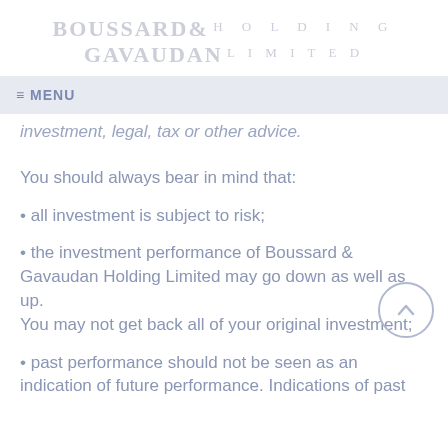BOUSSARD& HOLDING LIMITED
GAVAUDAN
≡ MENU
investment, legal, tax or other advice.
You should always bear in mind that:
• all investment is subject to risk;
• the investment performance of Boussard & Gavaudan Holding Limited may go down as well as up. You may not get back all of your original investment;
• past performance should not be seen as an indication of future performance. Indications of past